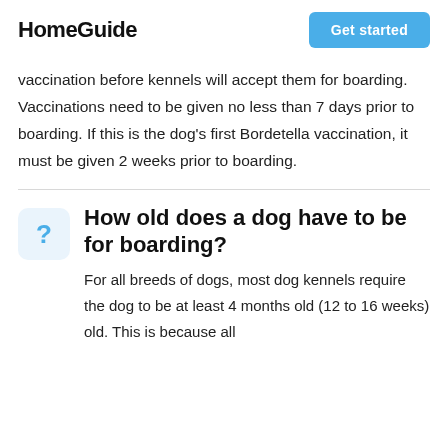HomeGuide   Get started
vaccination before kennels will accept them for boarding. Vaccinations need to be given no less than 7 days prior to boarding. If this is the dog's first Bordetella vaccination, it must be given 2 weeks prior to boarding.
How old does a dog have to be for boarding?
For all breeds of dogs, most dog kennels require the dog to be at least 4 months old (12 to 16 weeks) old. This is because all